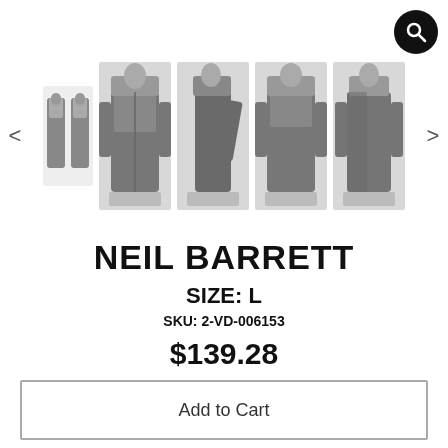[Figure (photo): Product carousel showing a grey Neil Barrett jacket from multiple angles including front, side, back and detail views, with left and right navigation arrows]
NEIL BARRETT
SIZE: L
SKU: 2-VD-006153
$139.28
Add to Cart